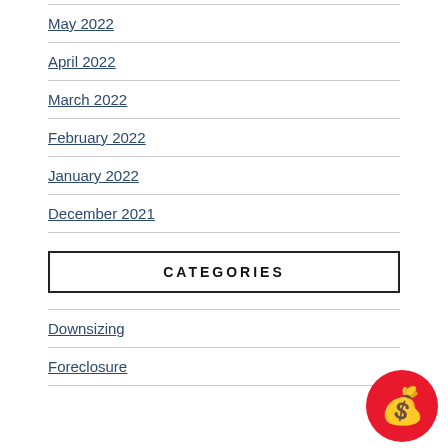May 2022
April 2022
March 2022
February 2022
January 2022
December 2021
CATEGORIES
Downsizing
Foreclosure